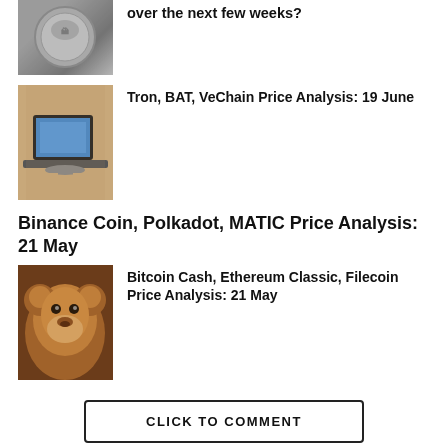[Figure (photo): Silver coin on dark textured background (partial, top cropped)]
[Figure (photo): Person typing on laptop computer]
Tron, BAT, VeChain Price Analysis: 19 June
Binance Coin, Polkadot, MATIC Price Analysis: 21 May
[Figure (photo): Brown bear close-up portrait]
Bitcoin Cash, Ethereum Classic, Filecoin Price Analysis: 21 May
CLICK TO COMMENT
LATEST
POPULAR
ANALYSIS / 1 year ago